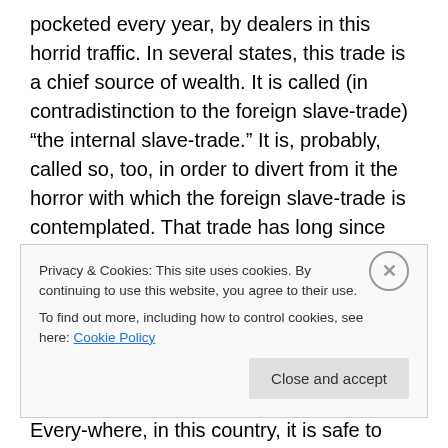pocketed every year, by dealers in this horrid traffic. In several states, this trade is a chief source of wealth. It is called (in contradistinction to the foreign slave-trade) “the internal slave-trade.” It is, probably, called so, too, in order to divert from it the horror with which the foreign slave-trade is contemplated. That trade has long since been denounced by this government, as piracy. It has been denounced with burning words, from the high places of the nation, as an execrable traffic. To arrest it, to put an end to it, this nation keeps a squadron, at immense cost, on the coast of Africa. Every-where, in this country, it is safe to
Privacy & Cookies: This site uses cookies. By continuing to use this website, you agree to their use.
To find out more, including how to control cookies, see here: Cookie Policy